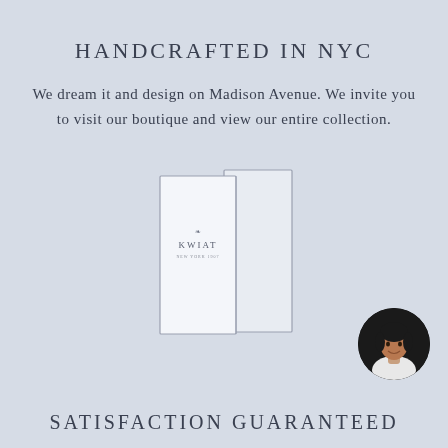HANDCRAFTED IN NYC
We dream it and design on Madison Avenue. We invite you to visit our boutique and view our entire collection.
[Figure (illustration): Illustration of a folded brochure/booklet with the KWIAT logo on it]
[Figure (photo): Circular portrait photo of a woman with dark hair, smiling, wearing a white top]
SATISFACTION GUARANTEED